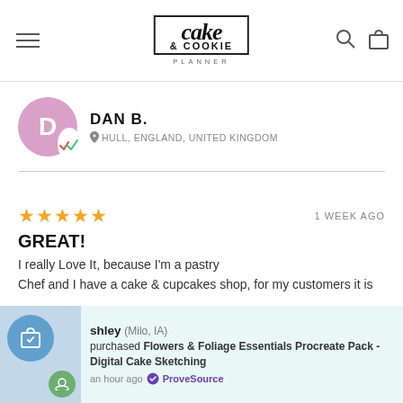[Figure (logo): Cake & Cookie Planner logo with hamburger menu, search icon, and bag icon in header]
DAN B.
HULL, ENGLAND, UNITED KINGDOM
★★★★★  1 WEEK AGO
GREAT!
I really Love It, because I'm a pastry Chef and I have a cake & cupcakes shop, for my customers it is
shley (Milo, IA) purchased Flowers & Foliage Essentials Procreate Pack - Digital Cake Sketching an hour ago ProveSource